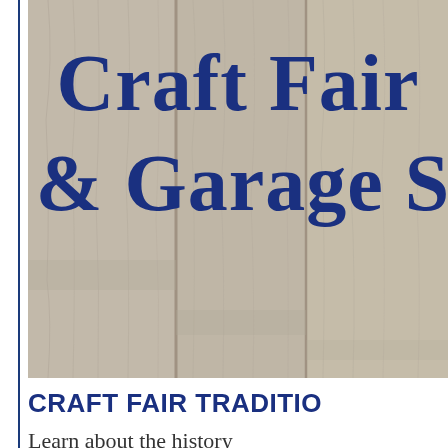[Figure (photo): A wooden sign or board with a weathered gray wood grain texture displaying bold blue serif text reading 'Craft Fair & Garage S' (cropped on right edge). The wood planks are vertical with natural grain patterns visible.]
CRAFT FAIR TRADITIO
Learn about the history...